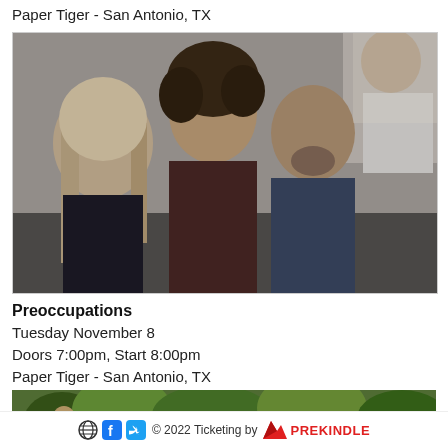Paper Tiger - San Antonio, TX
[Figure (photo): Band photo of Preoccupations — four men posing together indoors, muted tones]
Preoccupations
Tuesday November 8
Doors 7:00pm, Start 8:00pm
Paper Tiger - San Antonio, TX
[Figure (photo): Partial photo of people among lush green tropical plants]
© 2022 Ticketing by PREKINDLE